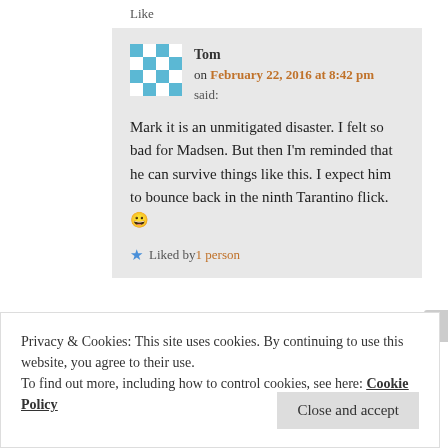Like
Tom on February 22, 2016 at 8:42 pm said:
Mark it is an unmitigated disaster. I felt so bad for Madsen. But then I'm reminded that he can survive things like this. I expect him to bounce back in the ninth Tarantino flick. 😀
★ Liked by 1 person
Privacy & Cookies: This site uses cookies. By continuing to use this website, you agree to their use.
To find out more, including how to control cookies, see here: Cookie Policy
Close and accept